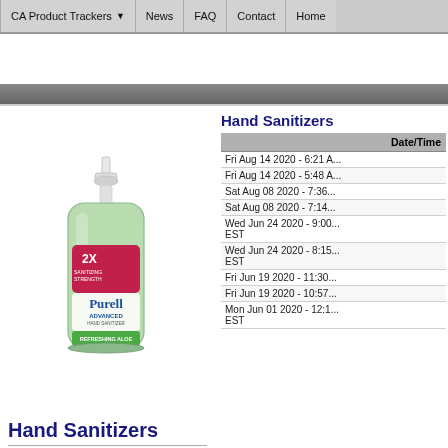CA Product Trackers | News | FAQ | Contact | Home
[Figure (photo): Purell Advanced Hand Sanitizer pump bottle with green gel, 2X Sanitizing Strength label, Refreshing Aloe scent]
Hand Sanitizers
Hand Sanitizers
| Date/Time |
| --- |
| Fri Aug 14 2020 - 6:21 A... |
| Fri Aug 14 2020 - 5:48 A... |
| Sat Aug 08 2020 - 7:36... |
| Sat Aug 08 2020 - 7:14... |
| Wed Jun 24 2020 - 9:00... EST |
| Wed Jun 24 2020 - 8:15... EST |
| Fri Jun 19 2020 - 11:30... |
| Fri Jun 19 2020 - 10:57... |
| Mon Jun 01 2020 - 12:1... EST |